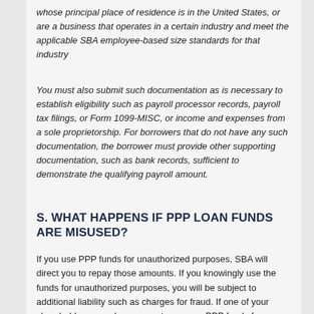whose principal place of residence is in the United States, or are a business that operates in a certain industry and meet the applicable SBA employee-based size standards for that industry
You must also submit such documentation as is necessary to establish eligibility such as payroll processor records, payroll tax filings, or Form 1099-MISC, or income and expenses from a sole proprietorship. For borrowers that do not have any such documentation, the borrower must provide other supporting documentation, such as bank records, sufficient to demonstrate the qualifying payroll amount.
S. WHAT HAPPENS IF PPP LOAN FUNDS ARE MISUSED?
If you use PPP funds for unauthorized purposes, SBA will direct you to repay those amounts. If you knowingly use the funds for unauthorized purposes, you will be subject to additional liability such as charges for fraud. If one of your shareholders, members, or partners uses PPP funds for unauthorized purposes, SBA will have